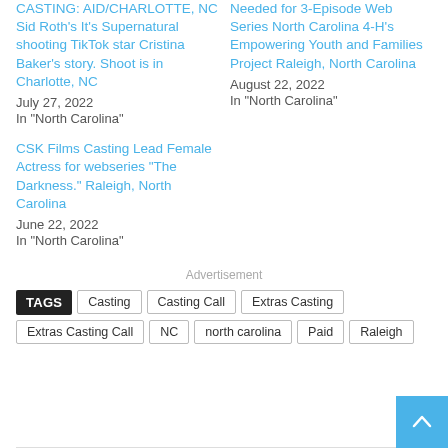CASTING: AID/CHARLOTTE, NC Sid Roth's It's Supernatural shooting TikTok star Cristina Baker's story. Shoot is in Charlotte, NC
July 27, 2022
In "North Carolina"
Needed for 3-Episode Web Series North Carolina 4-H's Empowering Youth and Families Project Raleigh, North Carolina
August 22, 2022
In "North Carolina"
CSK Films Casting Lead Female Actress for webseries "The Darkness." Raleigh, North Carolina
June 22, 2022
In "North Carolina"
Advertisement
TAGS  Casting  Casting Call  Extras Casting  Extras Casting Call  NC  north carolina  Paid  Raleigh